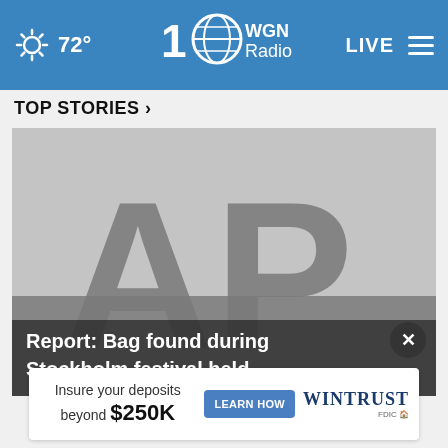72° WGN Radio 100 LIVE
TOP STORIES ›
[Figure (photo): AP (Associated Press) placeholder image with large grey 'AP' letters on light grey background, with headline overlay 'Report: Bag found during Stockholm festival held...' and a close button]
[Figure (other): Wintrust advertisement banner: 'Insure your deposits beyond $250K' with LEARN HOW button and Wintrust logo]